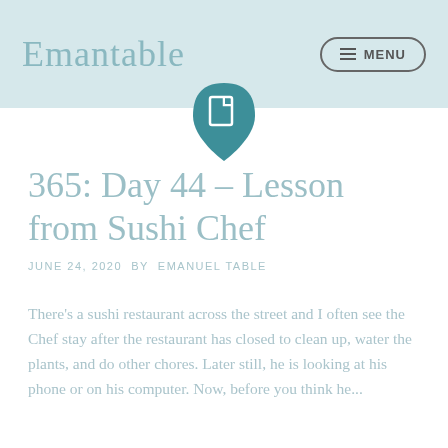Emantable  MENU
[Figure (logo): Teal rounded-bottom teardrop shape with a white document/page icon in the center]
365: Day 44 – Lesson from Sushi Chef
JUNE 24, 2020 BY EMANUEL TABLE
There's a sushi restaurant across the street and I often see the Chef stay after the restaurant has closed to clean up, water the plants, and do other chores. Later still, he is looking at his phone or on his computer. Now, before you think he...